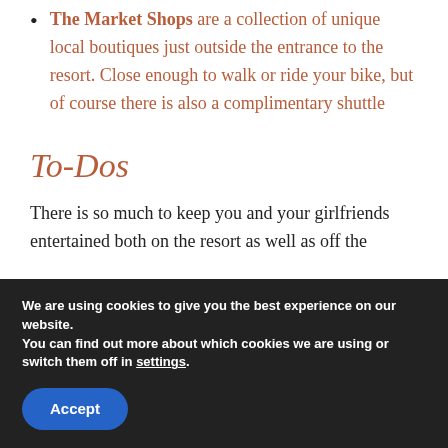The Market Shops are a collection of unique local boutiques just outside the entrance to the resort. Close enough to walk or ride your bike, but of course there is also a complimentary shuttle
To-Dos
There is so much to keep you and your girlfriends entertained both on the resort as well as off the
We are using cookies to give you the best experience on our website.
You can find out more about which cookies we are using or switch them off in settings.